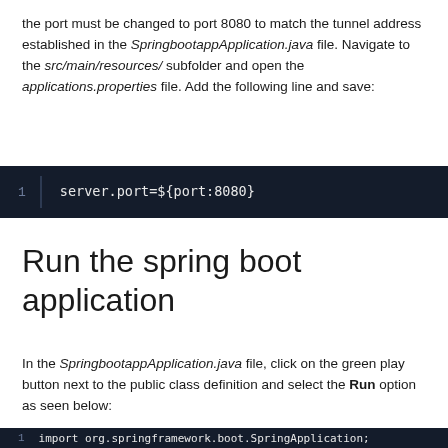the port must be changed to port 8080 to match the tunnel address established in the SpringbootappApplication.java file. Navigate to the src/main/resources/ subfolder and open the applications.properties file. Add the following line and save:
1  |  server.port=${port:8080}
Run the spring boot application
In the SpringbootappApplication.java file, click on the green play button next to the public class definition and select the Run option as seen below:
import org.springframework.boot.SpringApplication;